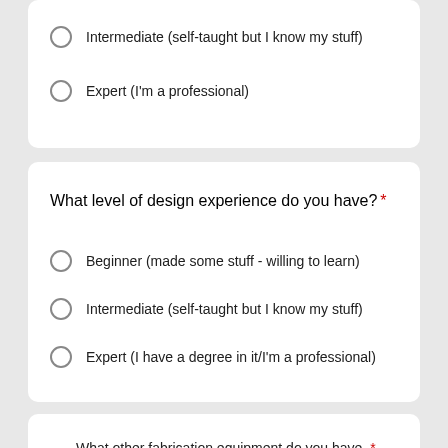Intermediate (self-taught but I know my stuff)
Expert (I'm a professional)
What level of design experience do you have? *
Beginner (made some stuff - willing to learn)
Intermediate (self-taught but I know my stuff)
Expert (I have a degree in it/I'm a professional)
What other fabrication equipment do you have, and which brand/model/how many? (ie: CNC, laser cutter, etc.) *